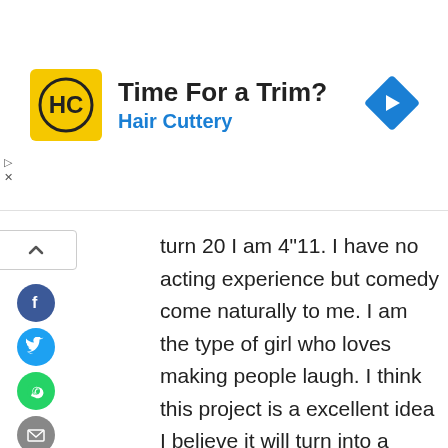[Figure (screenshot): Hair Cuttery advertisement banner. Yellow square logo with HC monogram, headline 'Time For a Trim?', subtext 'Hair Cuttery' in blue, and a blue diamond navigation arrow icon on the right.]
turn 20 I am 4"11. I have no acting experience but comedy come naturally to me. I am the type of girl who loves making people laugh. I think this project is a excellent idea I believe it will turn into a phenomenal movie. I will take ANYTHING!! I've always wanted to be in a movie or a show growing up I just never did anything about it because I was discouraged. So know I'm taking a chance and putting myself out